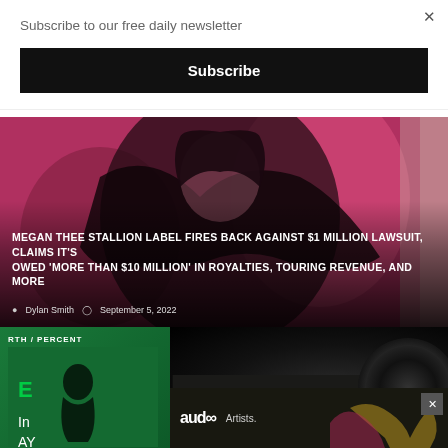Subscribe to our free daily newsletter
×
Subscribe
[Figure (photo): Megan Thee Stallion performing in a black feathered outfit against a pink/red background]
MEGAN THEE STALLION LABEL FIRES BACK AGAINST $1 MILLION LAWSUIT, CLAIMS IT'S OWED 'MORE THAN $10 MILLION' IN ROYALTIES, TOURING REVENUE, AND MORE
Dylan Smith  September 5, 2022
[Figure (photo): Green album cover partial view with text RTH / PERCENT]
[Figure (photo): Audoo advertisement banner with logo and waveform pattern]
audoo  Artists.
[Figure (photo): Vinyl record partial view on dark background]